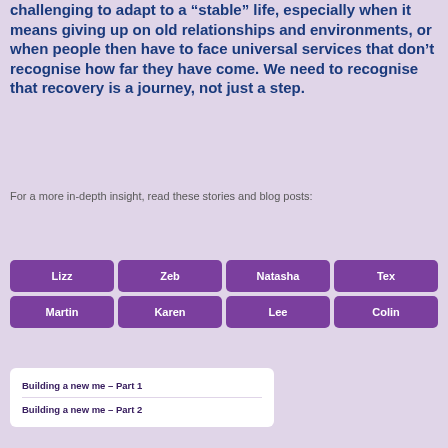challenging to adapt to a “stable” life, especially when it means giving up on old relationships and environments, or when people then have to face universal services that don’t recognise how far they have come. We need to recognise that recovery is a journey, not just a step.
For a more in-depth insight, read these stories and blog posts:
[Figure (infographic): Grid of purple name buttons: Lizz, Zeb, Natasha, Tex (top row); Martin, Karen, Lee, Colin (bottom row)]
Building a new me – Part 1
Building a new me – Part 2